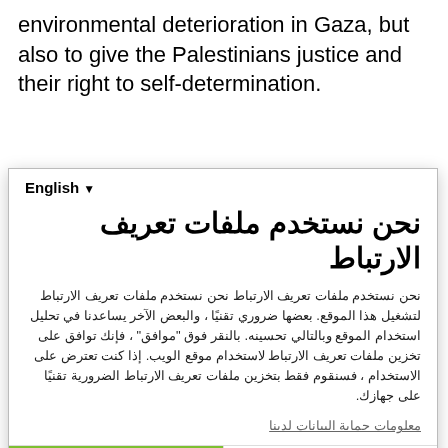environmental deterioration in Gaza, but also to give the Palestinians justice and their right to self-determination.
The Palestinian Local Authorities Law No.1 (1997)
English ▾
نحن نستخدم ملفات تعريف الارتباط
نحن نستخدم ملفات تعريف الارتباط نحن نستخدم ملفات تعريف الارتباط لتشغيل هذا الموقع. بعضها ضروري تقنيًا ، والبعض الآخر يساعدنا في تحليل استخدام الموقع وبالتالي تحسينه. بالنقر فوق "موافق" ، فإنك توافق على تخزين ملفات تعريف الارتباط لاستخدام موقع الويب. إذا كنت تعترض على الاستخدام ، فسنقوم فقط بتخزين ملفات تعريف الارتباط الضرورية تقنيًا على جهازك.
معلومات حماية البيانات لدينا
موافق
لا، شكرا
Powered by PIWIK PRO